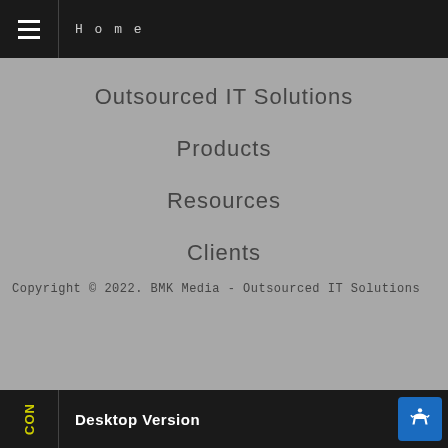Home
Outsourced IT Solutions
Products
Resources
Clients
Copyright © 2022. BMK Media - Outsourced IT Solutions
Desktop Version